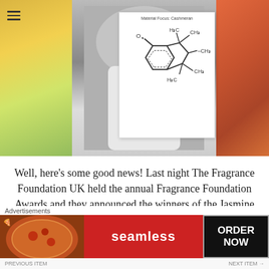[Figure (photo): Hero banner with a black-and-white photo of a man in a white shirt tasting something with a spoon, flanked by colorful abstract/floral backgrounds. On the right side a white card shows 'Material Focus: Cashmeran' with a chemical structure diagram.]
Well, here’s some good news! Last night The Fragrance Foundation UK held the annual Fragrance Foundation Awards and they announced the winners of the Jasmine Awards (the Oscars of fragrance writing). I was nominated in three categories and was thrilled to be awarded the Jasmine for Best Practical Guide for my article Material Focus: Cashmeran. This is my sixth (!!!) Jasmine Award and it’s still a complete surprise that anything I write is
Advertisements
[Figure (screenshot): Seamless food delivery advertisement banner showing pizza on the left, the Seamless logo in the center on a red background, and 'ORDER NOW' text on the right on a dark background.]